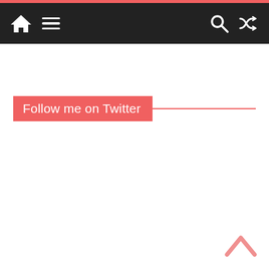Navigation bar with home, menu, search, and shuffle icons
Follow me on Twitter
[Figure (other): Back to top chevron arrow in salmon/pink color at bottom right]